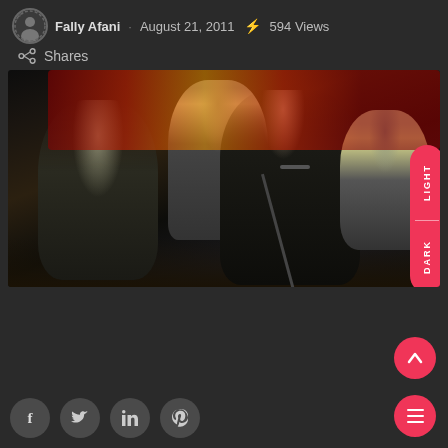Fally Afani · August 21, 2011 · 594 Views
Shares
[Figure (photo): Band performing on stage. Multiple musicians including guitarists and a vocalist singing into a microphone. Dark venue with colorful banners in background.]
LIGHT DARK toggle button
Social sharing buttons: Facebook, Twitter, LinkedIn, Pinterest